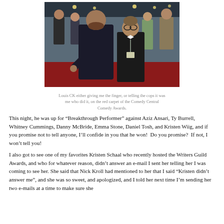[Figure (photo): Two men posing on a red carpet event (Comedy Central Comedy Awards). The taller man on the left appears to be pointing or gesturing toward the camera, and the shorter man on the right is wearing glasses and a bow tie.]
Louis CK either giving me the finger, or telling the cops it was me who did it, on the red carpet of the Comedy Central Comedy Awards.
This night, he was up for “Breakthrough Performer” against Aziz Ansari, Ty Burrell, Whitney Cummings, Danny McBride, Emma Stone, Daniel Tosh, and Kristen Wiig, and if you promise not to tell anyone, I’ll confide in you that he won!  Do you promise?  If not, I won’t tell you!
I also got to see one of my favorites Kristen Schaal who recently hosted the Writers Guild Awards, and who for whatever reason, didn’t answer an e-mail I sent her telling her I was coming to see her. She said that Nick Kroll had mentioned to her that I said “Kristen didn’t answer me”, and she was so sweet, and apologized, and I told her next time I’m sending her two e-mails at a time to make sure she